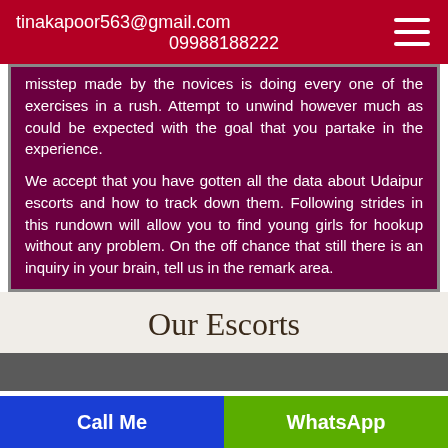tinakapoor563@gmail.com
09988188222
misstep made by the novices is doing every one of the exercises in a rush. Attempt to unwind however much as could be expected with the goal that you partake in the experience.
We accept that you have gotten all the data about Udaipur escorts and how to track down them. Following strides in this rundown will allow you to find young girls for hookup without any problem. On the off chance that still there is an inquiry in your brain, tell us in the remark area.
Our Escorts
[Figure (photo): Partial view of a photo below the Our Escorts heading]
Call Me     WhatsApp